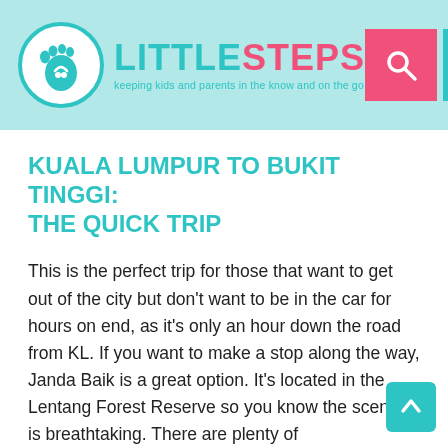LITTLESTEPS — keeping kids and parents in the know and on the go
KUALA LUMPUR TO BUKIT TINGGI: The Quick Trip
This is the perfect trip for those that want to get out of the city but don't want to be in the car for hours on end, as it's only an hour down the road from KL. If you want to make a stop along the way, Janda Baik is a great option. It's located in the Lentang Forest Reserve so you know the scenery is breathtaking. There are plenty of accommodation options if you want to spend the night or you can just stop in for a riverside picnic, a locally grown and roasted cup of coffee, or to pick some fruit at one of the many orchards. Continue on up the hill and